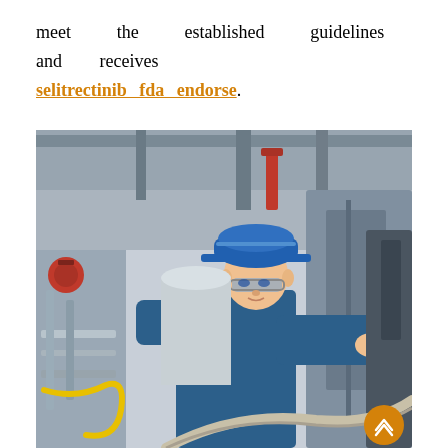meet the established guidelines and receives selitrectinib fda endorse.
[Figure (photo): A male engineer wearing a blue hard hat, safety glasses, and blue coveralls working on industrial equipment in a factory setting with pipes, valves, and machinery in the background.]